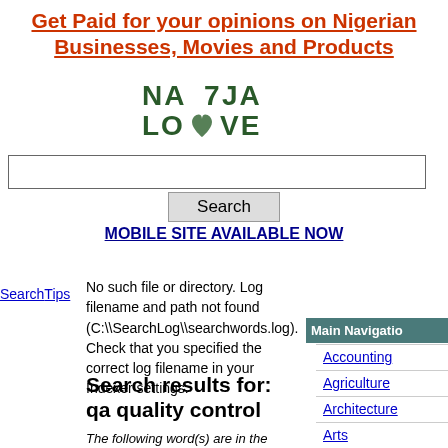Get Paid for your opinions on Nigerian Businesses, Movies and Products
[Figure (logo): Naija Love logo with stylized text and heart/infinity symbol]
Search (input box)
Search (button)
MOBILE SITE AVAILABLE NOW
Search Tips
No such file or directory. Log filename and path not found (C:\SearchLog\searchwords.log). Check that you specified the correct log filename in your Indexer settings.
Main Navigation
Accounting
Agriculture
Architecture
Arts
Automotive
Search results for: qa quality control
The following word(s) are in the skip word list and have been omitted from your search: "qa"